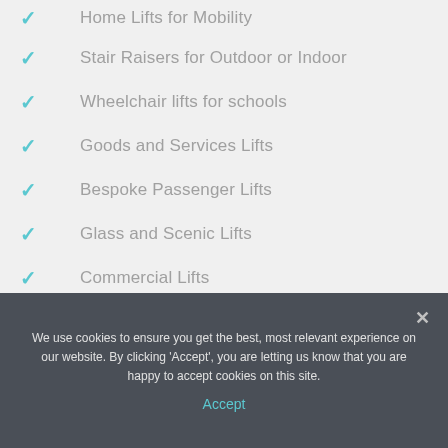Home Lifts for Mobility
Stair Raisers for Outdoor or Indoor
Wheelchair lifts for schools
Goods and Services Lifts
Bespoke Passenger Lifts
Glass and Scenic Lifts
Commercial Lifts
We use cookies to ensure you get the best, most relevant experience on our website. By clicking 'Accept', you are letting us know that you are happy to accept cookies on this site.
Accept